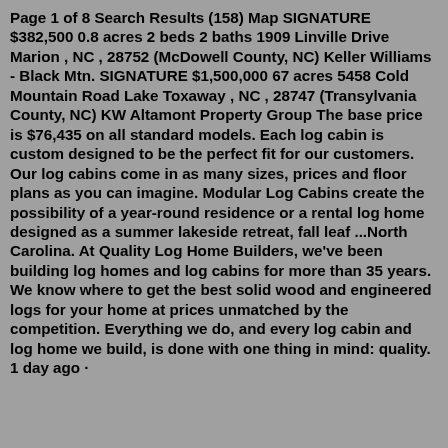Page 1 of 8 Search Results (158) Map SIGNATURE $382,500 0.8 acres 2 beds 2 baths 1909 Linville Drive Marion , NC , 28752 (McDowell County, NC) Keller Williams - Black Mtn. SIGNATURE $1,500,000 67 acres 5458 Cold Mountain Road Lake Toxaway , NC , 28747 (Transylvania County, NC) KW Altamont Property Group The base price is $76,435 on all standard models. Each log cabin is custom designed to be the perfect fit for our customers. Our log cabins come in as many sizes, prices and floor plans as you can imagine. Modular Log Cabins create the possibility of a year-round residence or a rental log home designed as a summer lakeside retreat, fall leaf ...North Carolina. At Quality Log Home Builders, we've been building log homes and log cabins for more than 35 years. We know where to get the best solid wood and engineered logs for your home at prices unmatched by the competition. Everything we do, and every log cabin and log home we build, is done with one thing in mind: quality. 1 day ago · Ellingberg 100 Mountain log cabin Burnsville, NC M...